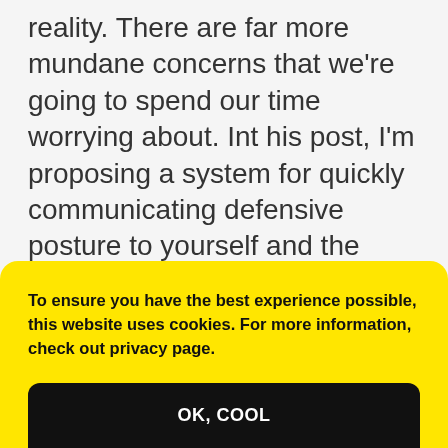reality. There are far more mundane concerns that we're going to spend our time worrying about. Int his post, I'm proposing a system for quickly communicating defensive posture to yourself and the world.
Matt  February 3, 2022  3 Comments  Podcast
To ensure you have the best experience possible, this website uses cookies. For more information, check out privacy page.
OK, COOL